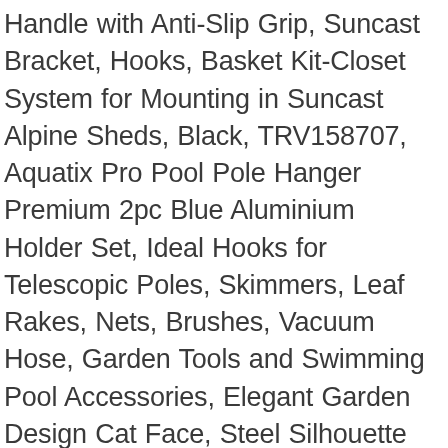Handle with Anti-Slip Grip, Suncast Bracket, Hooks, Basket Kit-Closet System for Mounting in Suncast Alpine Sheds, Black, TRV158707, Aquatix Pro Pool Pole Hanger Premium 2pc Blue Aluminium Holder Set, Ideal Hooks for Telescopic Poles, Skimmers, Leaf Rakes, Nets, Brushes, Vacuum Hose, Garden Tools and Swimming Pool Accessories, Elegant Garden Design Cat Face, Steel Silhouette with a Rusty Patina, Wet & Forget No Scrub Outdoor Cleaner for Easy Removal of Mold, Mildew and Algae Stains, Bleach-Free Formula, 64 Oz. Secure Login; Call 13 27 36; Search; Menu. Thank you & stay safe. 10x10 Metal Shed (61235) Palladium Series. The Arrow 10x6 Woodridge metal shed model WR106 is a woodgrain color with coffee brown trim. Arrow 6' x 5' EZEE Galvanized Steel Low Gable Shed Charcoal, Storage Shed with Peak Style Roof.